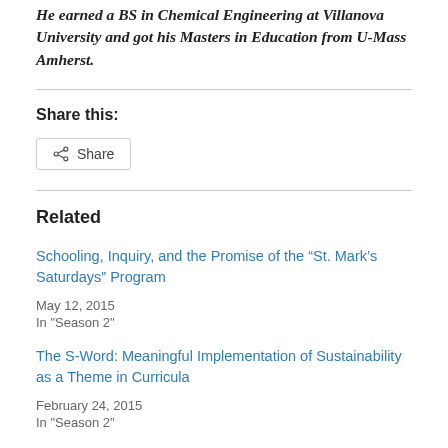He earned a BS in Chemical Engineering at Villanova University and got his Masters in Education from U-Mass Amherst.
Share this:
[Figure (other): Share button with share icon]
Related
Schooling, Inquiry, and the Promise of the “St. Mark’s Saturdays” Program
May 12, 2015
In "Season 2"
The S-Word: Meaningful Implementation of Sustainability as a Theme in Curricula
February 24, 2015
In "Season 2"